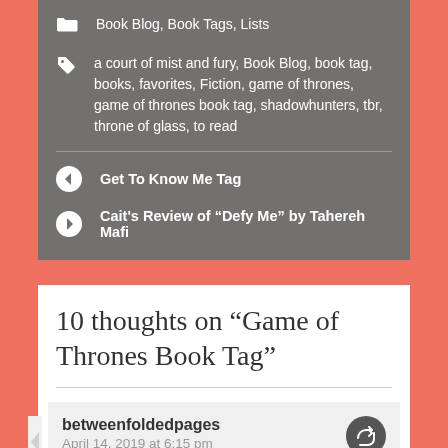Book Blog, Book Tags, Lists
a court of mist and fury, Book Blog, book tag, books, favorites, Fiction, game of thrones, game of thrones book tag, shadowhunters, tbr, throne of glass, to read
Get To Know Me Tag
Cait's Review of “Defy Me” by Tahereh Mafi
10 thoughts on “Game of Thrones Book Tag”
betweenfoldedpages
April 14, 2019 at 6:15 pm